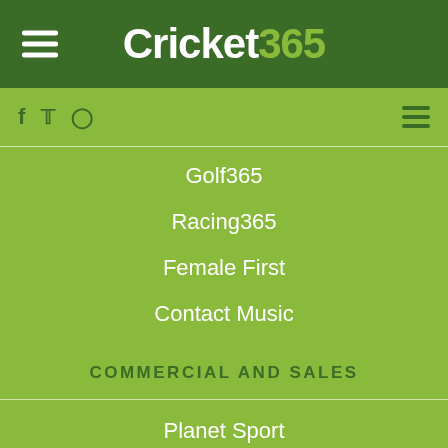Cricket365
Golf365
Racing365
Female First
Contact Music
COMMERCIAL AND SALES
Planet Sport
PARTNERS